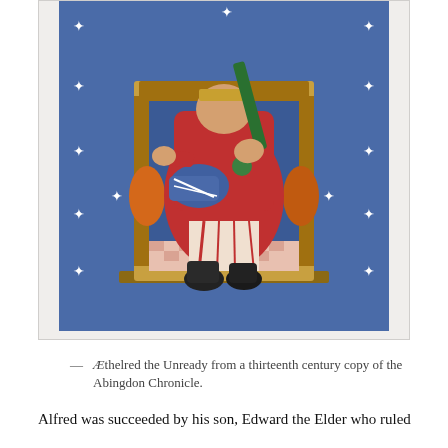[Figure (illustration): Medieval illuminated manuscript illustration showing Æthelred the Unready seated on a throne, wearing red robes and dark boots, holding a scepter, from a thirteenth century copy of the Abingdon Chronicle. Blue background with white stars, orange cushions on throne.]
— Æthelred the Unready from a thirteenth century copy of the Abingdon Chronicle.
Alfred was succeeded by his son, Edward the Elder who ruled